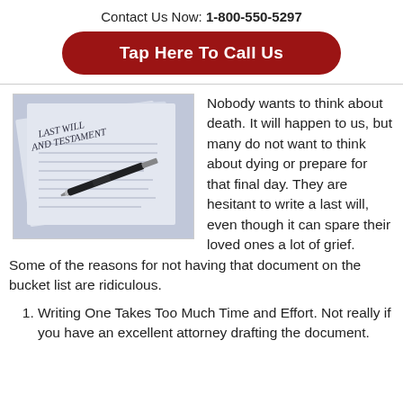Contact Us Now: 1-800-550-5297
Tap Here To Call Us
[Figure (photo): Photo of a Last Will and Testament document with a pen resting on it]
Nobody wants to think about death. It will happen to us, but many do not want to think about dying or prepare for that final day. They are hesitant to write a last will, even though it can spare their loved ones a lot of grief. Some of the reasons for not having that document on the bucket list are ridiculous.
Writing One Takes Too Much Time and Effort. Not really if you have an excellent attorney drafting the document.